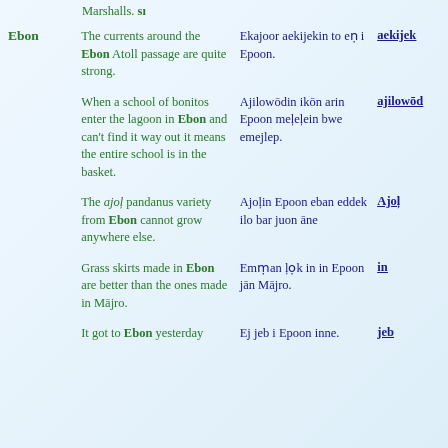Marshalls. si
Ebon | The currents around the Ebon Atoll passage are quite strong. | Ekajoor aekijekin to en i Epoon. | aekijek
When a school of bonitos enter the lagoon in Ebon and can't find it way out it means the entire school is in the basket. | Ajilowōdin ikōn arin Epoon meļeļein bwe emejlep. | ajilowōd
The ajoļ pandanus variety from Ebon cannot grow anywhere else. | Ajoļin Epoon eban eddek ilo bar juon āne | Ajoļ
Grass skirts made in Ebon are better than the ones made in Mājro. | Emṃan ļọk in in Epoon jān Mājro. | in
It got to Ebon yesterday | Ej jeb i Epoon inne. | jeb